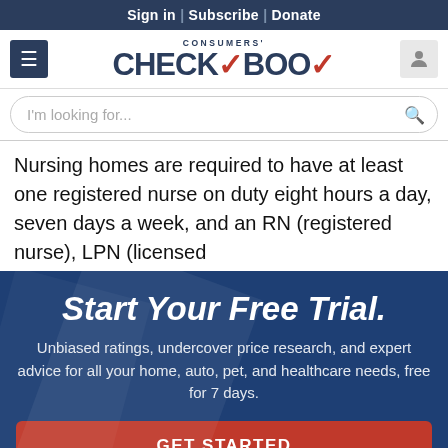Sign in | Subscribe | Donate
[Figure (logo): Consumers' Checkbook logo with red checkmark]
I'm looking for...
Nursing homes are required to have at least one registered nurse on duty eight hours a day, seven days a week, and an RN (registered nurse), LPN (licensed
Start Your Free Trial.
Unbiased ratings, undercover price research, and expert advice for all your home, auto, pet, and healthcare needs, free for 7 days.
GET STARTED
NO THANKS, MAYBE LATER.